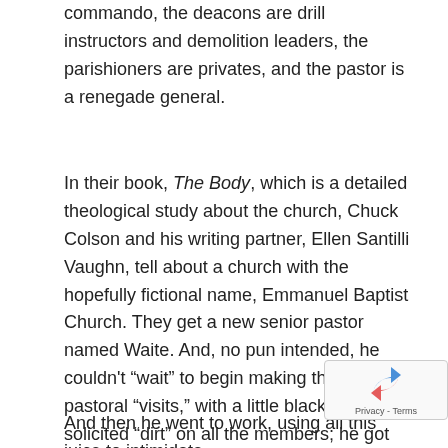commando, the deacons are drill instructors and demolition leaders, the parishioners are privates, and the pastor is a renegade general.
In their book, The Body, which is a detailed theological study about the church, Chuck Colson and his writing partner, Ellen Santilli Vaughn, tell about a church with the hopefully fictional name, Emmanuel Baptist Church. They get a new senior pastor named Waite. And, no pun intended, he couldn't “wait” to begin making the rounds, pastoral “visits,” with a little black book. He solicited “dirt” on all the members; he got people to confide in him about all their fellow Christians’ problems. Soon he had so much scuttlebutt, he had to trade in his little black gossip book for a much bigger one.
And then he went to work, using all this juice to intimidate